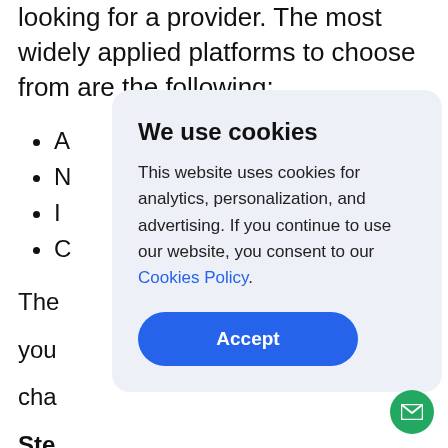looking for a provider. The most widely applied platforms to choose from are the following:
A
N
I
C
The [text obscured by modal]
Ste [text obscured by modal]
ava [text obscured by modal]
[Figure (screenshot): Cookie consent modal dialog with title 'We use cookies', body text about analytics/personalization/advertising, a 'Cookies Policy' link, and an 'Accept' button. A green email chat button is in the bottom-right corner.]